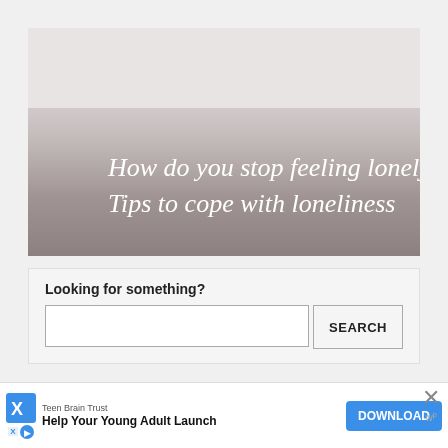[Figure (other): Banner image with muted brownish-gray gradient background and white serif text reading 'How do you stop feeling lonely? Tips to cope with loneliness']
Looking for something?
[Figure (other): Search bar with empty text input field and a SEARCH button]
© 2022 Helen Wills
[Figure (other): Advertisement banner: Teen Brain Trust - Help Your Young Adult Launch - DOWNLOAD button, with X close icon and wp logo]